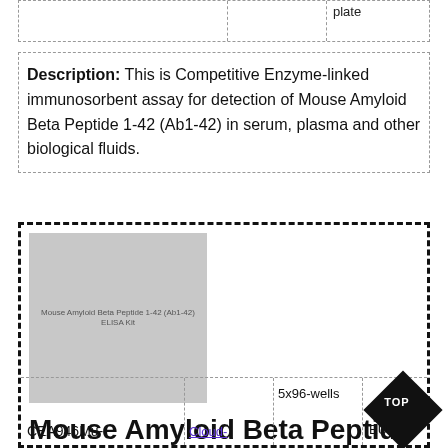|  |  | plate |
| --- | --- | --- |
|  |  | plate |
Description: This is Competitive Enzyme-linked immunosorbent assay for detection of Mouse Amyloid Beta Peptide 1-42 (Ab1-42) in serum, plasma and other biological fluids.
[Figure (photo): Product image placeholder for Mouse Amyloid Beta Peptide 1-42 (Ab1-42) ELISA Kit with small text label overlay]
Mouse Amyloid Beta Peptide 1-42 (Ab1-42) ELISA Kit
|  |  | 5x96-wells |  |
| --- | --- | --- | --- |
| CEA946Mu- | Cloud- | 5x96-wells | EU |